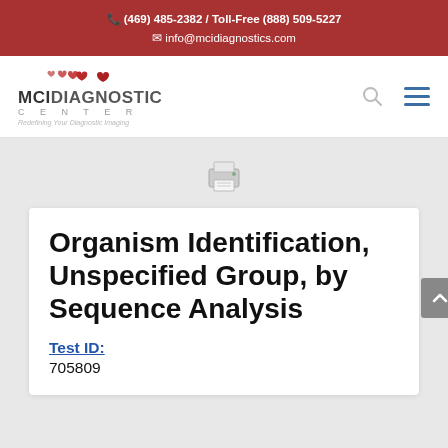📞 (469) 485-2382 / Toll-Free (888) 509-5227
✉ info@mcidiagnostics.com
[Figure (logo): MCI Diagnostic Center logo with red hearts above the text, tagline 'Redefining Your Diagnostic Imaging']
[Figure (other): Printer icon for print functionality]
Organism Identification, Unspecified Group, by Sequence Analysis
Test ID:
705809